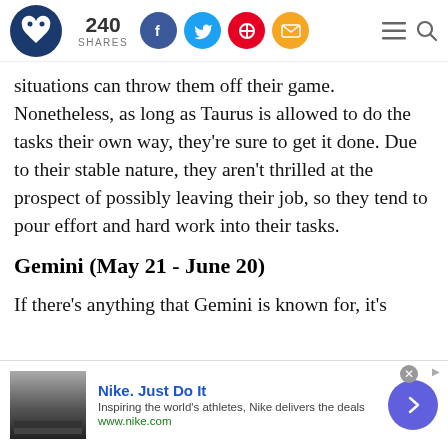240 SHARES
situations can throw them off their game. Nonetheless, as long as Taurus is allowed to do the tasks their own way, they're sure to get it done. Due to their stable nature, they aren't thrilled at the prospect of possibly leaving their job, so they tend to pour effort and hard work into their tasks.
Gemini (May 21 - June 20)
If there's anything that Gemini is known for, it's
[Figure (screenshot): Advertisement banner for Nike. Just Do It with text 'Inspiring the world's athletes, Nike delivers the deals' and url www.nike.com, with a forward arrow button and close button.]